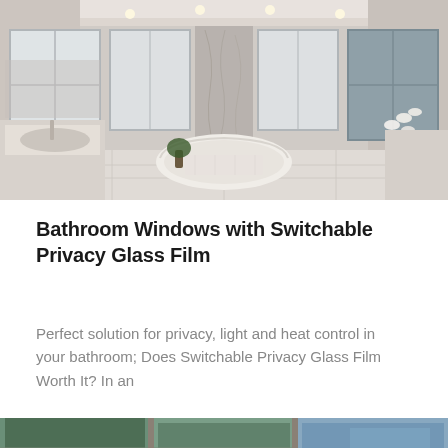[Figure (photo): Luxurious bathroom interior with frosted/switchable privacy glass windows, freestanding white oval bathtub, marble wall panels, recessed ceiling lights, double vanity on left, and white orchids on right.]
Bathroom Windows with Switchable Privacy Glass Film
Perfect solution for privacy, light and heat control in your bathroom; Does Switchable Privacy Glass Film Worth It? In an
[Figure (photo): Partial view of windows with switchable privacy glass film, showing exterior view with trees visible through tinted/clear glass panels.]